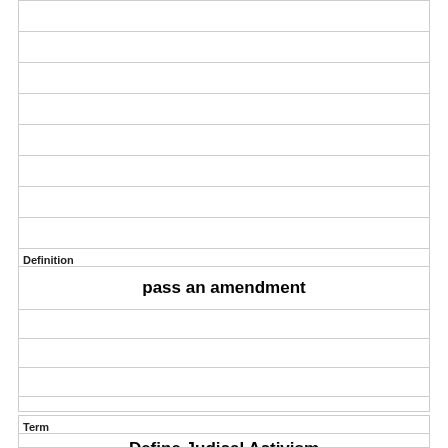|  |
|  |
|  |
|  |
| Definition |
| pass an amendment |
|  |
|  |
|  |
|  |
|  |
|  |
|  |
|  |
|  |
| Term |
| Define Judical Activism |
|  |
|  |